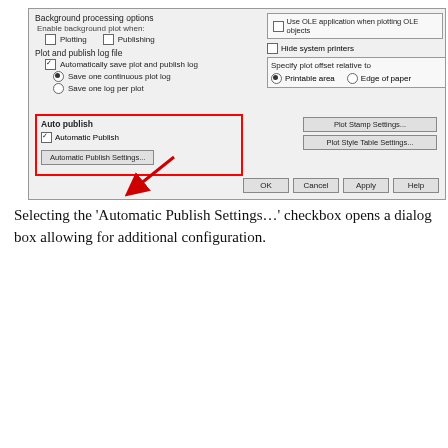[Figure (screenshot): AutoCAD Options dialog screenshot showing Plot and Publish tab with Auto publish section highlighted in red box with arrow pointing to Automatic Publish Settings button]
Selecting the 'Automatic Publish Settings…' checkbox opens a dialog box allowing for additional configuration.
[Figure (screenshot): Auto Publish Settings dialog box showing Current user: franklinc, Auto-Publish options (Publish on: Save, Location: Drawing folder, Include: Model and Layouts), General DWF/PDF options (File format: DWFx (XPS compatible), Type: Multi-sheet file, Layer information: Include)]